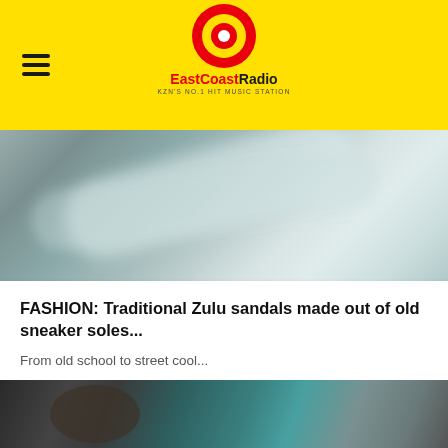EastCoastRadio — KZN'S NO.1 HIT MUSIC STATION
[Figure (photo): Blurred close-up photo of what appears to be white fabric or sandal material on a grey surface]
FASHION: Traditional Zulu sandals made out of old sneaker soles...
From old school to street cool...
5 months, 1 week ago
[Figure (photo): Blurred photo of a person's face/upper body with teal/turquoise frames visible in background, grey background]